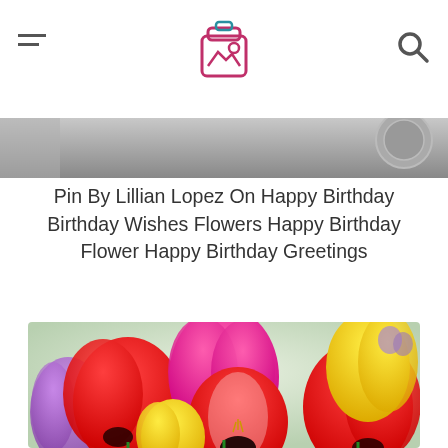[Figure (photo): Partial image strip at top showing metallic/decorative background with circular emblem on right side]
Pin By Lillian Lopez On Happy Birthday Birthday Wishes Flowers Happy Birthday Flower Happy Birthday Greetings
[Figure (photo): Close-up photo of colorful tulips including red, pink/magenta, yellow, and purple tulips in full bloom]